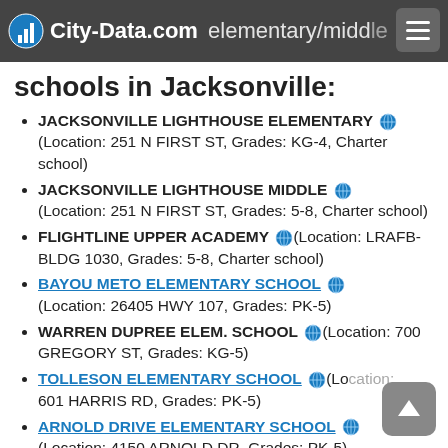City-Data.com  | biggest public elementary/middle
schools in Jacksonville:
JACKSONVILLE LIGHTHOUSE ELEMENTARY (Location: 251 N FIRST ST, Grades: KG-4, Charter school)
JACKSONVILLE LIGHTHOUSE MIDDLE (Location: 251 N FIRST ST, Grades: 5-8, Charter school)
FLIGHTLINE UPPER ACADEMY (Location: LRAFB-BLDG 1030, Grades: 5-8, Charter school)
BAYOU METO ELEMENTARY SCHOOL (Location: 26405 HWY 107, Grades: PK-5)
WARREN DUPREE ELEM. SCHOOL (Location: 700 GREGORY ST, Grades: KG-5)
TOLLESON ELEMENTARY SCHOOL (Location: 601 HARRIS RD, Grades: PK-5)
ARNOLD DRIVE ELEMENTARY SCHOOL (Location: 4150 ARNOLD DR, Grades: PK-5)